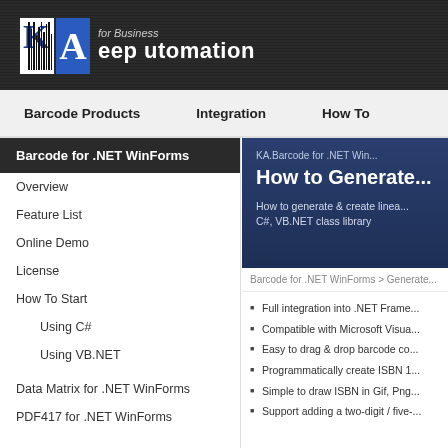[Figure (logo): KeepAutomation for Business logo with barcode K and blue A on dark background]
Barcode Products | Integration | How To
Barcode for .NET WinForms
Overview
Feature List
Online Demo
License
How To Start
Using C#
Using VB.NET
Data Matrix for .NET WinForms
PDF417 for .NET WinForms
KA.Barcode for .NET Win...
How to Generate...
How to generate & create linea... C#, VB.NET class library
Barcode for .NET WinForms > Generate...
Full integration into .NET Frame...
Compatible with Microsoft Visua...
Easy to drag & drop barcode co...
Programmatically create ISBN 1...
Simple to draw ISBN in Gif, Png...
Support adding a two-digit / five-...